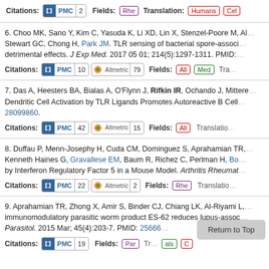Citations: PMC 2  Fields: Rhe  Translation: Humans Cel
6. Choo MK, Sano Y, Kim C, Yasuda K, Li XD, Lin X, Stenzel-Poore M, Al... Stewart GC, Chong H, Park JM. TLR sensing of bacterial spore-associ... detrimental effects. J Exp Med. 2017 05 01; 214(5):1297-1311. PMID:
Citations: PMC 10  Altmetric 79  Fields: All Med  Tra...
7. Das A, Heesters BA, Bialas A, O'Flynn J, Rifkin IR, Ochando J, Mittere... Dendritic Cell Activation by TLR Ligands Promotes Autoreactive B Cell... 28099860.
Citations: PMC 42  Altmetric 15  Fields: All  Translatio...
8. Duffau P, Menn-Josephy H, Cuda CM, Dominguez S, Aprahamian TR,... Kenneth Haines G, Gravallese EM, Baum R, Richez C, Perlman H, Bo... by Interferon Regulatory Factor 5 in a Mouse Model. Arthritis Rheumat...
Citations: PMC 22  Altmetric 2  Fields: Rhe  Translatio...
9. Aprahamian TR, Zhong X, Amir S, Binder CJ, Chiang LK, Al-Riyami L,... immunomodulatory parasitic worm product ES-62 reduces lupus-assoc... Parasitol. 2015 Mar; 45(4):203-7. PMID: 25666...
Citations: PMC 19  Fields: Par  Tr... als C...